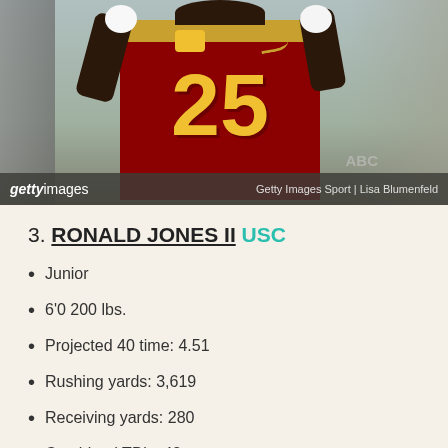[Figure (photo): Football player #25 in USC Trojans red and gold uniform running with the ball. Getty Images Sport photo by Lisa Blumenfeld.]
3. RONALD JONES II USC
Junior
6'0 200 lbs.
Projected 40 time: 4.51
Rushing yards: 3,619
Receiving yards: 280
Combined TD's: 42